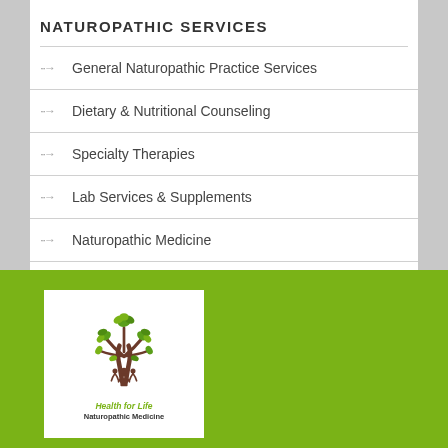NATUROPATHIC SERVICES
General Naturopathic Practice Services
Dietary & Nutritional Counseling
Specialty Therapies
Lab Services & Supplements
Naturopathic Medicine
[Figure (logo): Health for Life Naturopathic Medicine logo: a stylized tree with green leaves and brown trunk, with human figures incorporated. Text reads 'Health for Life Naturopathic Medicine' on a white background, displayed on a green background.]